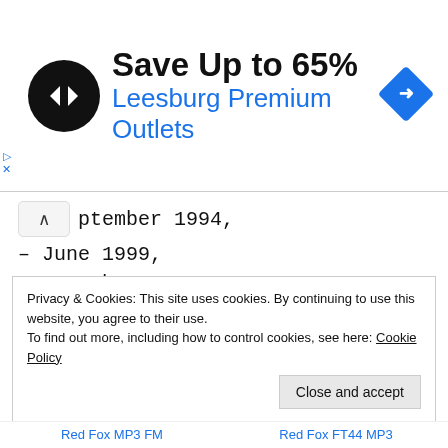[Figure (other): Advertisement banner: black circular logo with double arrow symbol, text 'Save Up to 65%' and 'Leesburg Premium Outlets' in blue, blue diamond navigation icon on right]
ptember 1994,
– June 1999,
– November 2002,
– and January 2003
Filters: F435W(B), F555W(V), F814W(I)
Related
Privacy & Cookies: This site uses cookies. By continuing to use this website, you agree to their use.
To find out more, including how to control cookies, see here: Cookie Policy
Red Fox MP3 FM    Red Fox FT44 MP3